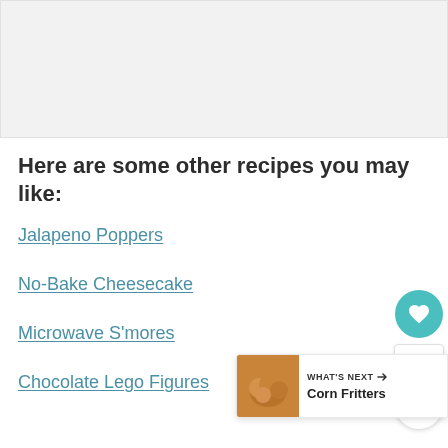[Figure (other): Gray banner/advertisement placeholder at top of page]
Here are some other recipes you may like:
Jalapeno Poppers
No-Bake Cheesecake
Microwave S'mores
Chocolate Lego Figures